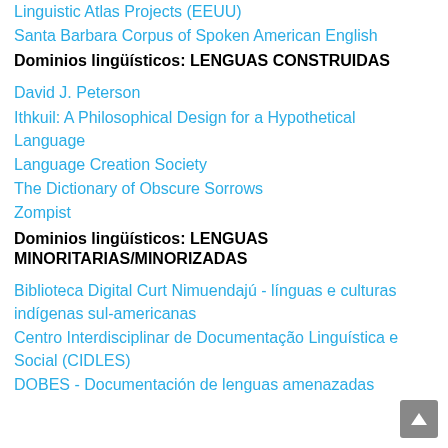Linguistic Atlas Projects (EEUU)
Santa Barbara Corpus of Spoken American English
Dominios lingüísticos: LENGUAS CONSTRUIDAS
David J. Peterson
Ithkuil: A Philosophical Design for a Hypothetical Language
Language Creation Society
The Dictionary of Obscure Sorrows
Zompist
Dominios lingüísticos: LENGUAS MINORITARIAS/MINORIZADAS
Biblioteca Digital Curt Nimuendajú - línguas e culturas indígenas sul-americanas
Centro Interdisciplinar de Documentação Linguística e Social (CIDLES)
DOBES - Documentación de lenguas amenazadas